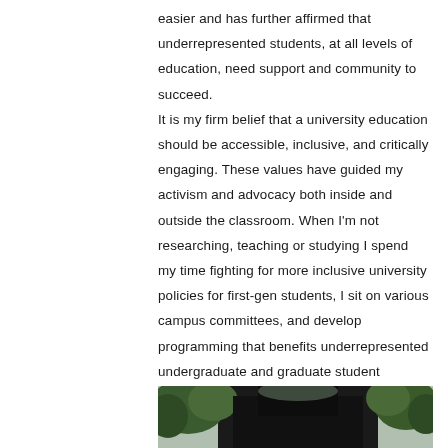easier and has further affirmed that underrepresented students, at all levels of education, need support and community to succeed.
It is my firm belief that a university education should be accessible, inclusive, and critically engaging. These values have guided my activism and advocacy both inside and outside the classroom. When I'm not researching, teaching or studying I spend my time fighting for more inclusive university policies for first-gen students, I sit on various campus committees, and develop programming that benefits underrepresented undergraduate and graduate student communities.
[Figure (photo): Outdoor photo showing trees and what appears to be a graduation ceremony or campus scene, partially visible at the bottom of the page.]